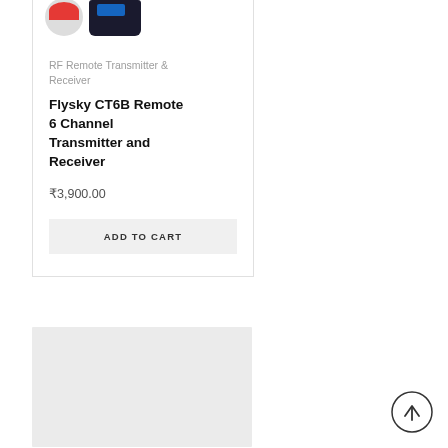[Figure (photo): Partial view of product images at top of card: a round tape/disc object and a dark remote control device]
RF Remote Transmitter & Receiver
Flysky CT6B Remote 6 Channel Transmitter and Receiver
₹3,900.00
ADD TO CART
[Figure (photo): Grey placeholder rectangle for next product card image]
[Figure (other): Scroll-to-top circular button with upward arrow icon]